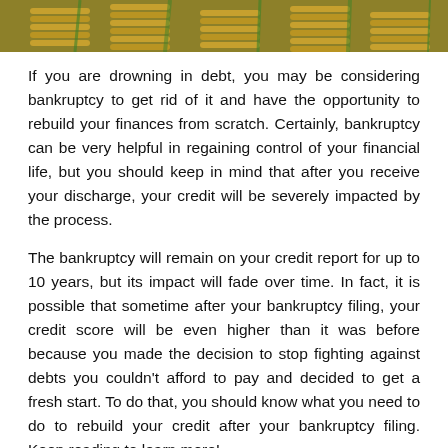[Figure (photo): Close-up photo of stacked gold/copper coins with green plant stems in the background, suggesting financial growth or savings.]
If you are drowning in debt, you may be considering bankruptcy to get rid of it and have the opportunity to rebuild your finances from scratch. Certainly, bankruptcy can be very helpful in regaining control of your financial life, but you should keep in mind that after you receive your discharge, your credit will be severely impacted by the process.
The bankruptcy will remain on your credit report for up to 10 years, but its impact will fade over time. In fact, it is possible that sometime after your bankruptcy filing, your credit score will be even higher than it was before because you made the decision to stop fighting against debts you couldn't afford to pay and decided to get a fresh start. To do that, you should know what you need to do to rebuild your credit after your bankruptcy filing. Keep reading to learn more!